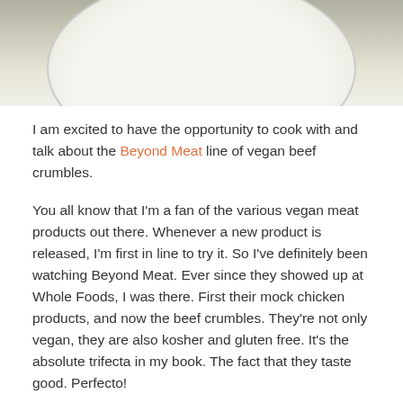[Figure (photo): Top portion of a food photo showing a white plate with food on a neutral background]
I am excited to have the opportunity to cook with and talk about the Beyond Meat line of vegan beef crumbles.
You all know that I'm a fan of the various vegan meat products out there. Whenever a new product is released, I'm first in line to try it. So I've definitely been watching Beyond Meat. Ever since they showed up at Whole Foods, I was there. First their mock chicken products, and now the beef crumbles. They're not only vegan, they are also kosher and gluten free. It's the absolute trifecta in my book. The fact that they taste good. Perfecto!
I'd already tried the beefy variety of the crumbles, so I decided to get a little crazy and try their Feisty crumbles.
[Figure (photo): Broken image placeholder for 'vegan feisty crumbles']
An idea immediately popped in to my head. I some amazing fresh lettuce and corn from my CSA. I decided I needed to make tacos